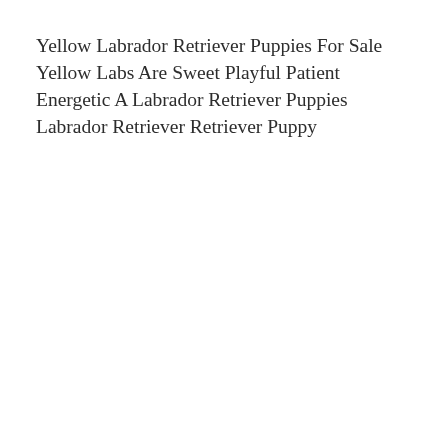Yellow Labrador Retriever Puppies For Sale Yellow Labs Are Sweet Playful Patient Energetic A Labrador Retriever Puppies Labrador Retriever Retriever Puppy